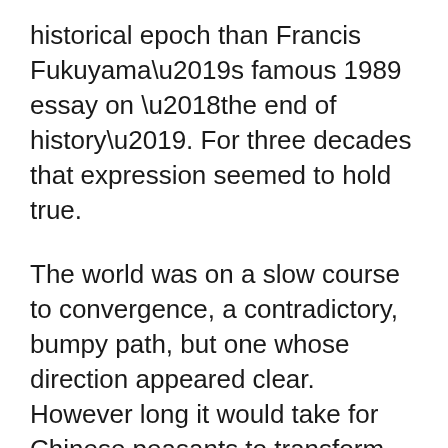historical epoch than Francis Fukuyama’s famous 1989 essay on ‘the end of history’. For three decades that expression seemed to hold true.
The world was on a slow course to convergence, a contradictory, bumpy path, but one whose direction appeared clear. However long it would take for Chinese peasants to transform into a middle class and demand democratic reform and however long it would take to reshape the Middle East, the endgame was just one: neoliberal capitalism and liberal democracy for all.
That conviction cracked under the weight of its own pretences. Extreme levels of